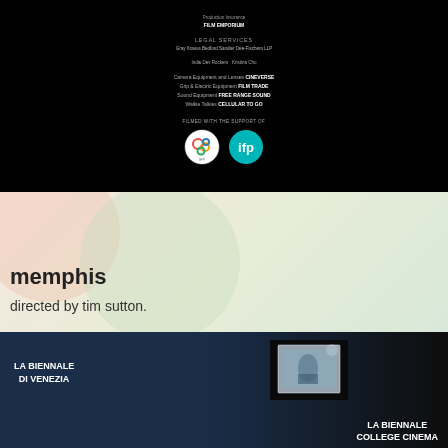Production Insurance
FILM EMPORIUM

LEGAL SERVICES
Gray Krauss Bedford Sandler Dee-Fischero LLP

Indie Dev Rockers  Kristina Chu

Camera Equipment and Lenses  CINEVERSE
Grip & Electric Equipment  FILM TRADE
Sound Equipment  FREE RANGE SOUND
Walkie Talkies  CELLULAR TO GO

FILMED WITH THE SUPPORT OF
[Figure (logo): Two sponsor logos: a circular FilmNYC/Rooftop Films style logo and a circular teal IFP logo]
memphis
directed by tim sutton.
[Figure (screenshot): Dark blue/dark film still showing 'LA BIENNALE DI VENEZIA' text on the left and a small illuminated screen/photo in the center-right, with 'LA BIENNALE COLLEGE CINEMA' text at the bottom right]